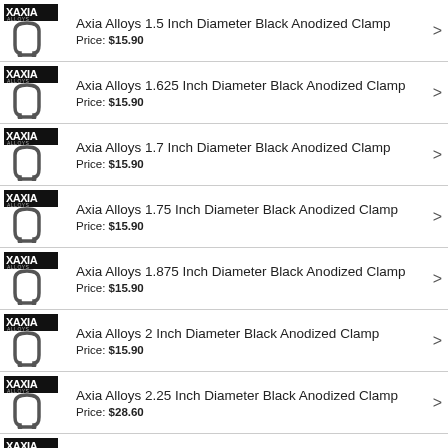Axia Alloys 1.5 Inch Diameter Black Anodized Clamp
Price: $15.90
Axia Alloys 1.625 Inch Diameter Black Anodized Clamp
Price: $15.90
Axia Alloys 1.7 Inch Diameter Black Anodized Clamp
Price: $15.90
Axia Alloys 1.75 Inch Diameter Black Anodized Clamp
Price: $15.90
Axia Alloys 1.875 Inch Diameter Black Anodized Clamp
Price: $15.90
Axia Alloys 2 Inch Diameter Black Anodized Clamp
Price: $15.90
Axia Alloys 2.25 Inch Diameter Black Anodized Clamp
Price: $28.60
Axia Alloys 2.375 Inch Diameter Black Anodized Clamp
Price: $28.60
(partial) Axia Alloys ...